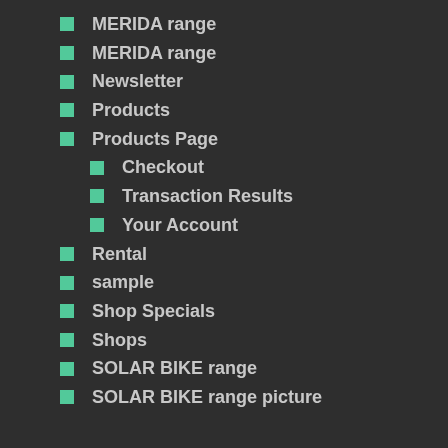MERIDA range
MERIDA range
Newsletter
Products
Products Page
Checkout
Transaction Results
Your Account
Rental
sample
Shop Specials
Shops
SOLAR BIKE range
SOLAR BIKE range picture